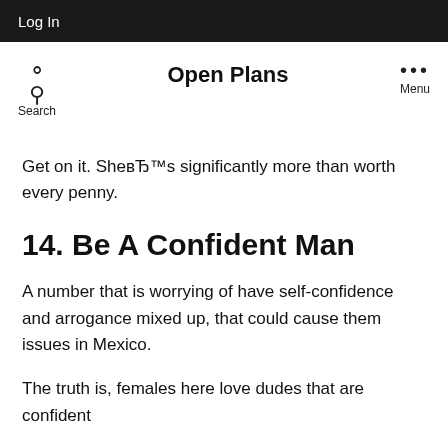Log In
Open Plans
Get on it. SheвЂ™s significantly more than worth every penny.
14. Be A Confident Man
A number that is worrying of have self-confidence and arrogance mixed up, that could cause them issues in Mexico.
The truth is, females here love dudes that are confident